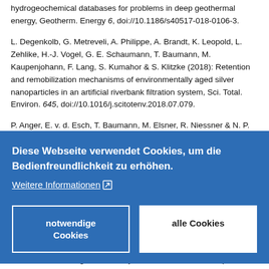hydrogeochemical databases for problems in deep geothermal energy, Geotherm. Energy 6, doi://10.1186/s40517-018-0106-3.
L. Degenkolb, G. Metreveli, A. Philippe, A. Brandt, K. Leopold, L. Zehlike, H.-J. Vogel, G. E. Schaumann, T. Baumann, M. Kaupenjohann, F. Lang, S. Kumahor & S. Klitzke (2018): Retention and remobilization mechanisms of environmentally aged silver nanoparticles in an artificial riverbank filtration system, Sci. Total. Environ. 645, doi://10.1016/j.scitotenv.2018.07.079.
P. Anger, E. v. d. Esch, T. Baumann, M. Elsner, R. Niessner & N. P.
[Figure (screenshot): Cookie consent overlay in German. Text reads: 'Diese Webseite verwendet Cookies, um die Bedienfreundlichkeit zu erhöhen.' with a 'Weitere Informationen' link and two buttons: 'notwendige Cookies' and 'alle Cookies'.]
data from a former geothermal injection well in the malm aquifer.